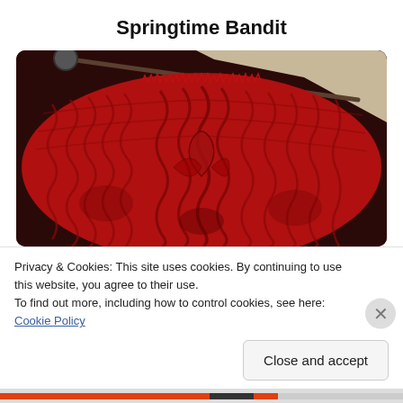Springtime Bandit
[Figure (photo): Close-up photograph of red knitted fabric with a cable/leaf pattern, showing knitting needles at the top. The fabric is a deep crimson/red color with textured stitch patterns forming symmetrical designs.]
Privacy & Cookies: This site uses cookies. By continuing to use this website, you agree to their use.
To find out more, including how to control cookies, see here: Cookie Policy